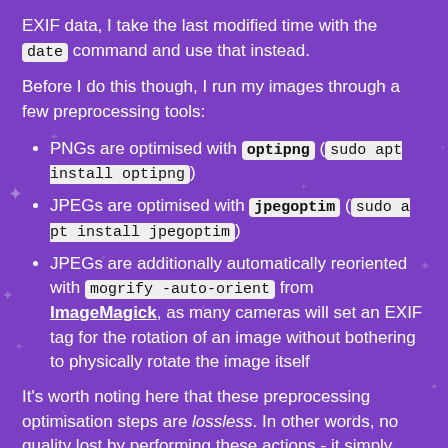EXIF data, I take the last modified time with the date command and use that instead.
Before I do this though, I run my images through a few preprocessing tools:
PNGs are optimised with optipng (sudo apt install optipng)
JPEGs are optimised with jpegoptim (sudo apt install jpegoptim)
JPEGs are additionally automatically reoriented with mogrify -auto-orient from ImageMagick, as many cameras will set an EXIF tag for the rotation of an image without bothering to physically rotate the image itself
It's worth noting here that these preprocessing optimisation steps are lossless. In other words, no quality lost by performing these actions - it simply encodes the images more efficiently such that they use less disk space.